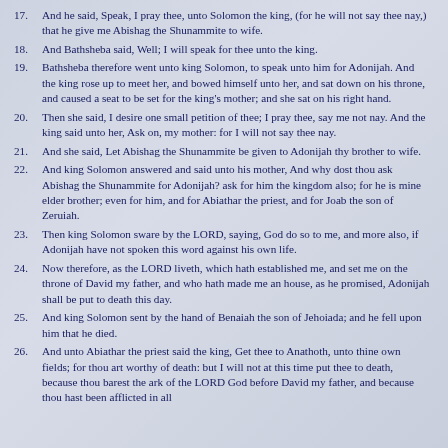17. And he said, Speak, I pray thee, unto Solomon the king, (for he will not say thee nay,) that he give me Abishag the Shunammite to wife.
18. And Bathsheba said, Well; I will speak for thee unto the king.
19. Bathsheba therefore went unto king Solomon, to speak unto him for Adonijah. And the king rose up to meet her, and bowed himself unto her, and sat down on his throne, and caused a seat to be set for the king's mother; and she sat on his right hand.
20. Then she said, I desire one small petition of thee; I pray thee, say me not nay. And the king said unto her, Ask on, my mother: for I will not say thee nay.
21. And she said, Let Abishag the Shunammite be given to Adonijah thy brother to wife.
22. And king Solomon answered and said unto his mother, And why dost thou ask Abishag the Shunammite for Adonijah? ask for him the kingdom also; for he is mine elder brother; even for him, and for Abiathar the priest, and for Joab the son of Zeruiah.
23. Then king Solomon sware by the LORD, saying, God do so to me, and more also, if Adonijah have not spoken this word against his own life.
24. Now therefore, as the LORD liveth, which hath established me, and set me on the throne of David my father, and who hath made me an house, as he promised, Adonijah shall be put to death this day.
25. And king Solomon sent by the hand of Benaiah the son of Jehoiada; and he fell upon him that he died.
26. And unto Abiathar the priest said the king, Get thee to Anathoth, unto thine own fields; for thou art worthy of death: but I will not at this time put thee to death, because thou barest the ark of the LORD God before David my father, and because thou hast been afflicted in all